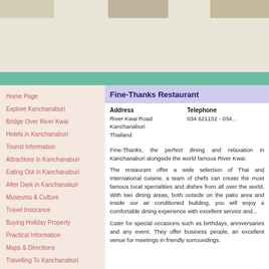[Figure (photo): Website header banner with decorative nature/travel images at top of page]
Home Page
Explore Kanchanaburi
Bridge Over River Kwai
Hotels in Kanchanaburi
Tourist Information
Attractions in Kanchanaburi
Eating Out in Kanchanaburi
After Dark in Kanchanaburi
Museums & Culture
Travel Insurance
Buying Holiday Property
Practical Information
Maps & Directions
Travelling To Kanchanaburi
Fine-Thanks Restaurant
Address
River Kwai Road
Kanchanaburi
Thailand
Telephone
034 621152 - 034...
Fine-Thanks, the perfect dining and relaxation in Kanchanaburi alongside the world famous River Kwai.
The restaurant offer a wide selection of Thai and International cuisine, a team of chefs can create the most famous local specialities and dishes from all over the world. With two dining areas, both outside on the patio area and inside our air conditioned building, you will enjoy a comfortable dining experience with excellent service and...
Cater for special occasions such as birthdays, anniversaries and any event. They offer business people, an excellent venue for meetings in friendly surroundings.